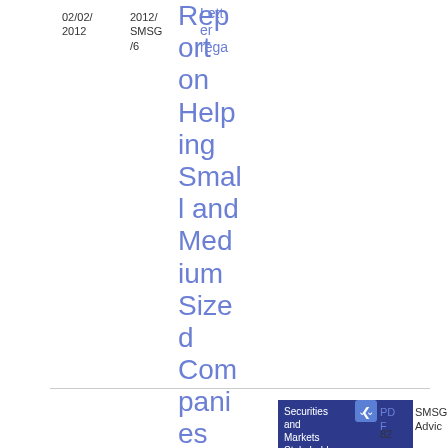Report on Helping Small and Medium Sized Companies Access Funding
02/02/2012  2012/SMSG/6  Letter rega...  Securities and Markets Stakeholder Group  SMSG Advic  PDF  82